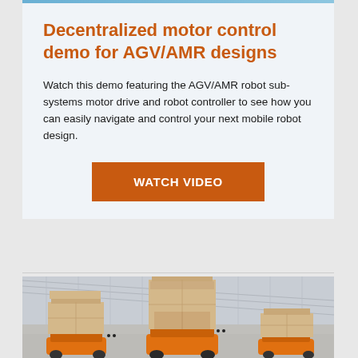Decentralized motor control demo for AGV/AMR designs
Watch this demo featuring the AGV/AMR robot sub-systems motor drive and robot controller to see how you can easily navigate and control your next mobile robot design.
[Figure (other): Orange 'WATCH VIDEO' button]
[Figure (photo): Warehouse interior with orange AGV robots carrying stacked cardboard boxes on a warehouse floor with large industrial roof structure]